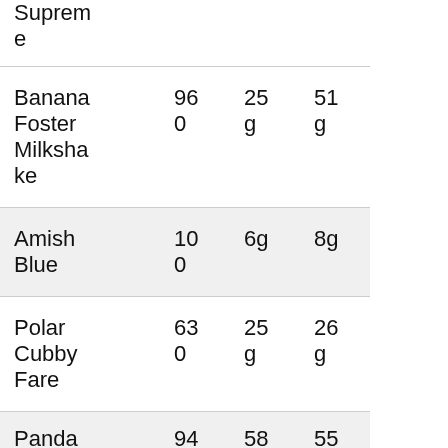| Item | Cal | Fat | Carb |
| --- | --- | --- | --- |
| Supreme |  |  |  |
| Banana Foster Milkshake | 960 | 25g | 51g |
| Amish Blue | 100 | 6g | 8g |
| Polar Cubby Fare | 630 | 25g | 26g |
| Panda | 94 | 58 | 55 |